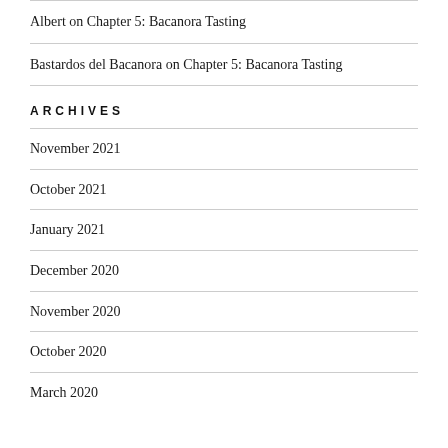Albert on Chapter 5: Bacanora Tasting
Bastardos del Bacanora on Chapter 5: Bacanora Tasting
ARCHIVES
November 2021
October 2021
January 2021
December 2020
November 2020
October 2020
March 2020